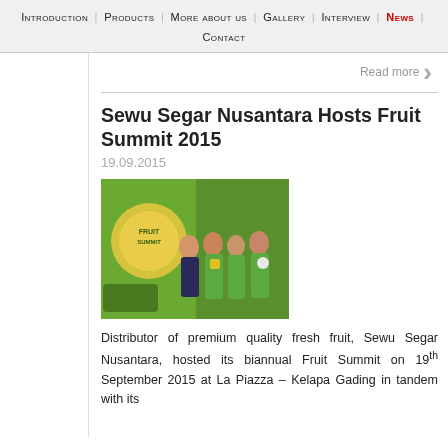Introduction | Products | More about us | Gallery | Interview | News | Contact
Read more ›
Sewu Segar Nusantara Hosts Fruit Summit 2015
19.09.2015
[Figure (photo): Group photo of four people in green shirts at the Fruit Summit 2015 event, standing in front of a green banner/backdrop with the Fruit Summit logo.]
Distributor of premium quality fresh fruit, Sewu Segar Nusantara, hosted its biannual Fruit Summit on 19th September 2015 at La Piazza – Kelapa Gading in tandem with its